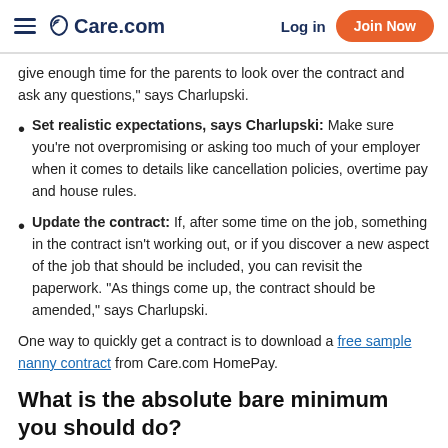Care.com — Log in | Join Now
give enough time for the parents to look over the contract and ask any questions," says Charlupski.
Set realistic expectations, says Charlupski: Make sure you're not overpromising or asking too much of your employer when it comes to details like cancellation policies, overtime pay and house rules.
Update the contract: If, after some time on the job, something in the contract isn't working out, or if you discover a new aspect of the job that should be included, you can revisit the paperwork. "As things come up, the contract should be amended," says Charlupski.
One way to quickly get a contract is to download a free sample nanny contract from Care.com HomePay.
What is the absolute bare minimum you should do?